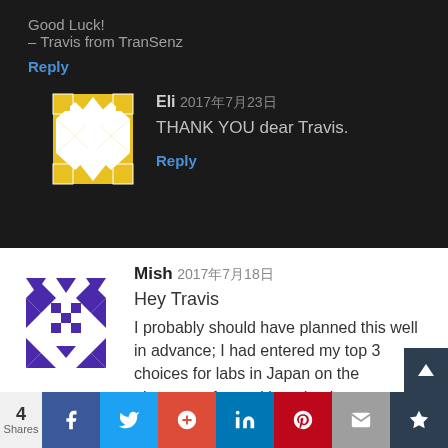Good Luck!
– Travis from TranSenz
Reply
[Figure (illustration): Yellow and white diamond pattern avatar for user Eli]
Eli 2017年7月23日
THANK YOU dear Travis.
Reply
[Figure (illustration): Purple and white geometric pattern avatar for user Mish]
Mish 2017年7月18日
Hey Travis
I probably should have planned this well in advance; I had entered my top 3 choices for labs in Japan on the placement form without having contacted them. I emailed my most preferred professor 2 weeks ago and
4 Shares | Facebook | Twitter | Google+ | LinkedIn | Pinterest | Email | Bookmark